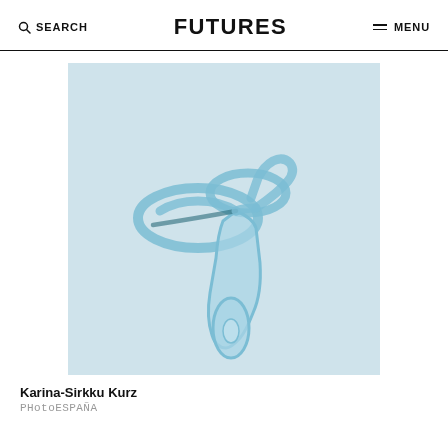SEARCH  FUTURES  MENU
[Figure (photo): A transparent light-blue plastic speculum or medical device photographed on a pale blue-grey background. The device has two wing-like loops at the top and a handle/stem at the bottom, giving it an abstract sculptural appearance.]
Karina-Sirkku Kurz
PHotoESPAÑA